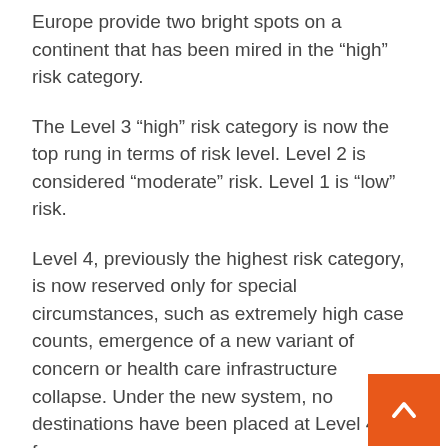Europe provide two bright spots on a continent that has been mired in the “high” risk category.
The Level 3 “high” risk category is now the top rung in terms of risk level. Level 2 is considered “moderate” risk. Level 1 is “low” risk.
Level 4, previously the highest risk category, is now reserved only for special circumstances, such as extremely high case counts, emergence of a new variant of concern or health care infrastructure collapse. Under the new system, no destinations have been placed at Level 4 so far.
[Figure (other): Orange back-to-top button with upward chevron arrow in bottom-right corner]